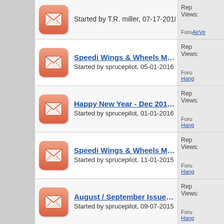Started by T.R. miller, 07-17-2018 04:19 PM | Rep | Views: | Forum: AirVe...
Speedi Wings & Wheels Magazine - Latest April / | Started by sprucepilot, 05-01-2016 01:12 PM | Rep | Views: | Forum: Hanga...
Happy New Year - Dec 2015 / Jan 2016 Issue of | Started by sprucepilot, 01-01-2016 01:32 PM | Rep | Views: | Forum: Hanga...
Speedi Wings & Wheels Magazine - Latest Issue | Started by sprucepilot, 11-01-2015 03:57 AM | Rep | Views: | Forum: Hanga...
August / September Issue of Speedi Wings & | Started by sprucepilot, 09-07-2015 09:01 AM | Rep | Views: | Forum: Hanga...